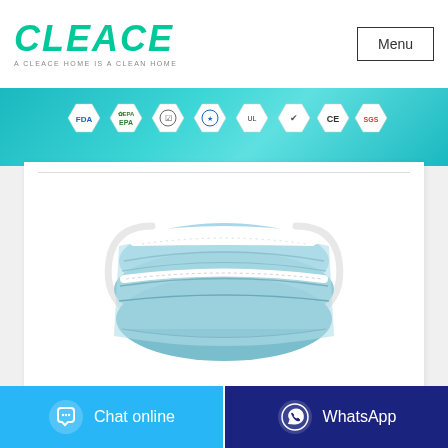[Figure (logo): CLEACE logo in teal/green italic bold font with tagline 'A CLEACE HOME IS A CLEAN HOME']
[Figure (other): Menu button top right corner, rectangular border]
[Figure (infographic): Teal banner with certification badge icons: FDA, EPA, and 6 other certification logos on teal gradient background]
[Figure (photo): Light blue disposable 3-ply face mask on white background, shown at angle with ear loops visible]
[Figure (other): Chat online button (light blue) and WhatsApp button (dark blue) at bottom of page]